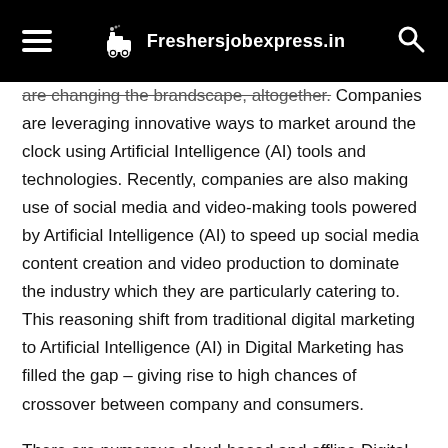Freshersjobexpress.in
are changing the brandscape, altogether. Companies are leveraging innovative ways to market around the clock using Artificial Intelligence (AI) tools and technologies. Recently, companies are also making use of social media and video-making tools powered by Artificial Intelligence (AI) to speed up social media content creation and video production to dominate the industry which they are particularly catering to. This reasoning shift from traditional digital marketing to Artificial Intelligence (AI) in Digital Marketing has filled the gap – giving rise to high chances of crossover between company and consumers.
There are numerous cloud-based and offline Digital Marketing tools, you can leverage based on the needs. Your daily Digital Marketing works can be managed by these AI tools and this is an incredibly true fact.